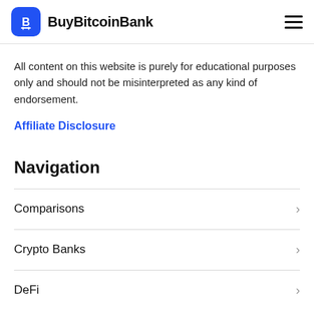BuyBitcoinBank
All content on this website is purely for educational purposes only and should not be misinterpreted as any kind of endorsement.
Affiliate Disclosure
Navigation
Comparisons
Crypto Banks
DeFi